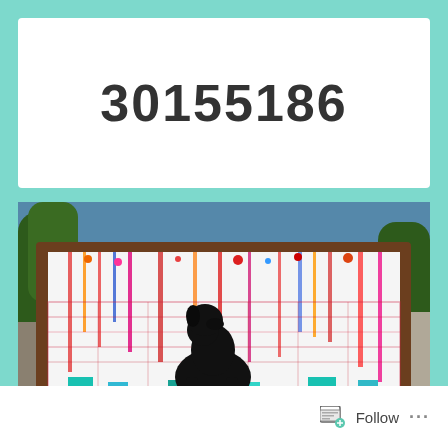30155186
[Figure (photo): A colorful abstract painting displayed in a wooden frame outdoors. The painting features a black silhouette of a dog sitting in the center, surrounded by vibrant multicolored paint drips and splashes on a white canvas background. The frame is set against an outdoor suburban background with trees, a fence, and blue sky.]
Follow ...